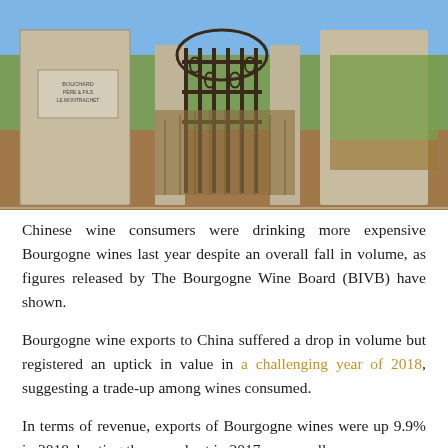[Figure (photo): Photograph of a stone gate entrance to a Bourgogne/Burgundy vineyard, with ornate wrought-iron gates open in the center, a stone pillar on the left bearing a plaque reading 'BOUCHARD PÈRE & FILS LE MONTRACHET', and green vineyard rows visible behind in sunlight.]
Chinese wine consumers were drinking more expensive Bourgogne wines last year despite an overall fall in volume, as figures released by The Bourgogne Wine Board (BIVB) have shown.
Bourgogne wine exports to China suffered a drop in volume but registered an uptick in value in a challenging year of 2018, suggesting a trade-up among wines consumed.
In terms of revenue, exports of Bourgogne wines were up 9.9% in 2018, beating the record set in 2017, across all